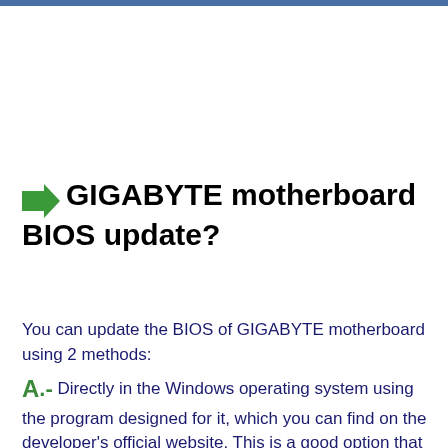GIGABYTE motherboard BIOS update?
You can update the BIOS of GIGABYTE motherboard using 2 methods:
A.- Directly in the Windows operating system using the program designed for it, which you can find on the developer's official website. This is a good option that will suit most users, but the situation